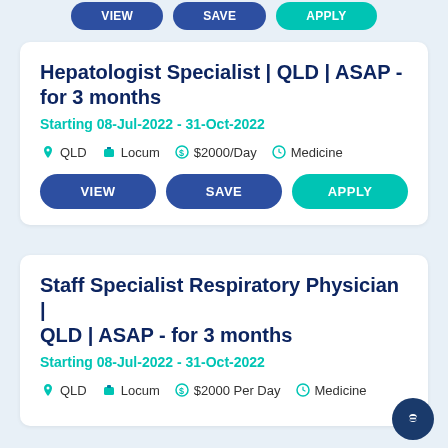[Figure (screenshot): Top bar with three pill-shaped buttons (blue VIEW, blue SAVE, teal APPLY) partially visible at top]
Hepatologist Specialist | QLD | ASAP - for 3 months
Starting 08-Jul-2022 - 31-Oct-2022
QLD  Locum  $2000/Day  Medicine
VIEW  SAVE  APPLY
Staff Specialist Respiratory Physician | QLD | ASAP - for 3 months
Starting 08-Jul-2022 - 31-Oct-2022
QLD  Locum  $2000 Per Day  Medicine